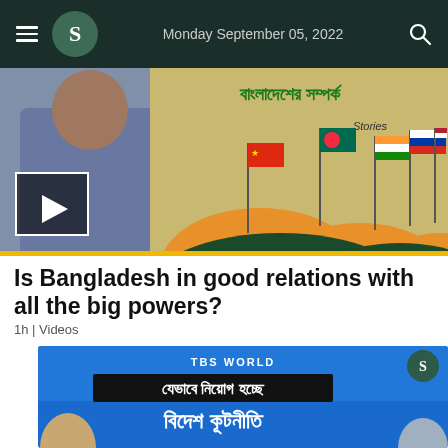Monday September 05, 2022
[Figure (screenshot): Video thumbnail showing a man in blue shirt with international flags (Bangladesh, China, India, Russia, US) on an illustrated landscape background with Bengali text and 'Stories' label. Yellow bottom border. Play button overlay in bottom-left.]
Is Bangladesh in good relations with all the big powers?
1h | Videos
[Figure (screenshot): Video thumbnail with blue background showing TBS WORLD logo, Bengali text reading 'যেভাবে নিয়োগ হচ্ছে বিদেশ কূটনীতি' and two people's faces visible at the bottom left and right.]